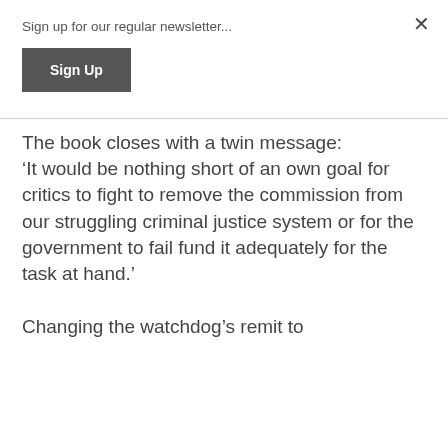Sign up for our regular newsletter...
Sign Up
The book closes with a twin message:
'It would be nothing short of an own goal for critics to fight to remove the commission from our struggling criminal justice system or for the government to fail fund it adequately for the task at hand.'
Changing the watchdog's remit to